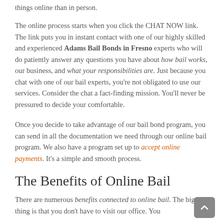things online than in person.
The online process starts when you click the CHAT NOW link. The link puts you in instant contact with one of our highly skilled and experienced Adams Bail Bonds in Fresno experts who will do patiently answer any questions you have about how bail works, our business, and what your responsibilities are. Just because you chat with one of our bail experts, you're not obligated to use our services. Consider the chat a fact-finding mission. You'll never be pressured to decide your comfortable.
Once you decide to take advantage of our bail bond program, you can send in all the documentation we need through our online bail program. We also have a program set up to accept online payments. It's a simple and smooth process.
The Benefits of Online Bail
There are numerous benefits connected to online bail. The biggest thing is that you don't have to visit our office. You